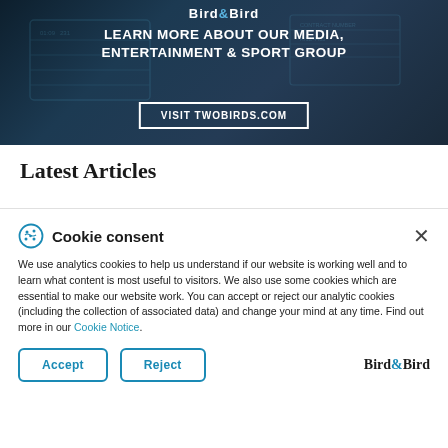[Figure (screenshot): Bird & Bird law firm banner promoting their Media, Entertainment & Sport Group with text 'LEARN MORE ABOUT OUR MEDIA, ENTERTAINMENT & SPORT GROUP' and a button 'VISIT TWOBIRDS.COM' on a dark blue background with screen/dashboard imagery]
Latest Articles
Cookie consent

We use analytics cookies to help us understand if our website is working well and to learn what content is most useful to visitors. We also use some cookies which are essential to make our website work. You can accept or reject our analytic cookies (including the collection of associated data) and change your mind at any time. Find out more in our Cookie Notice.
Accept   Reject